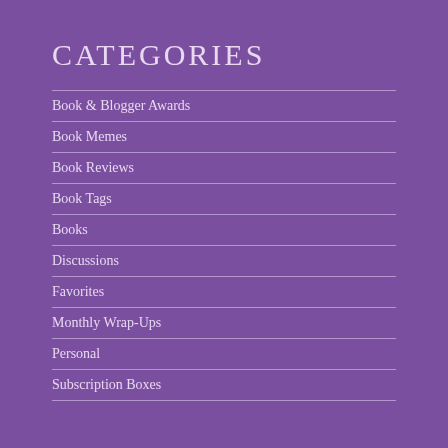CATEGORIES
Book & Blogger Awards
Book Memes
Book Reviews
Book Tags
Books
Discussions
Favorites
Monthly Wrap-Ups
Personal
Subscription Boxes